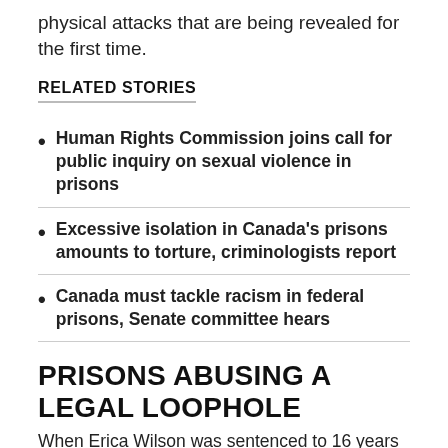physical attacks that are being revealed for the first time.
RELATED STORIES
Human Rights Commission joins call for public inquiry on sexual violence in prisons
Excessive isolation in Canada's prisons amounts to torture, criminologists report
Canada must tackle racism in federal prisons, Senate committee hears
PRISONS ABUSING A LEGAL LOOPHOLE
When Erica Wilson was sentenced to 16 years in prison for drug trafficking in 2016, it did not